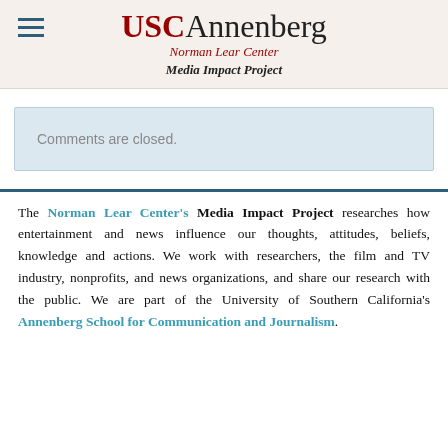USC Annenberg Norman Lear Center Media Impact Project
Comments are closed.
The Norman Lear Center's Media Impact Project researches how entertainment and news influence our thoughts, attitudes, beliefs, knowledge and actions. We work with researchers, the film and TV industry, nonprofits, and news organizations, and share our research with the public. We are part of the University of Southern California's Annenberg School for Communication and Journalism.